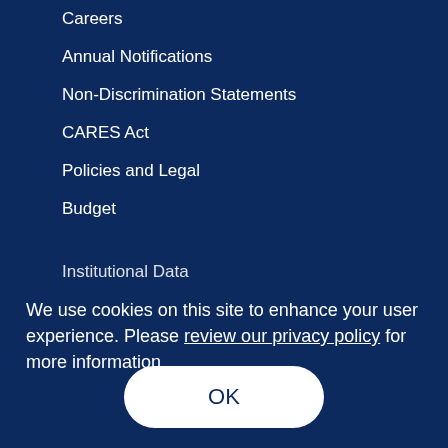Careers
Annual Notifications
Non-Discrimination Statements
CARES Act
Policies and Legal
Budget
Institutional Data
We use cookies on this site to enhance your user experience. Please review our privacy policy for more information.
OK